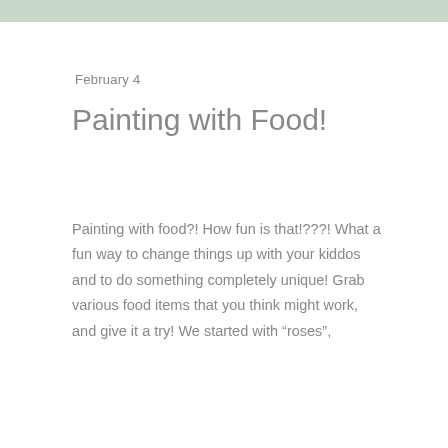[Figure (photo): Top portion of an image, cropped, showing a light background with slight color at left edge]
February 4
Painting with Food!
Painting with food?! How fun is that!???! What a fun way to change things up with your kiddos and to do something completely unique! Grab various food items that you think might work, and give it a try! We started with “roses”,